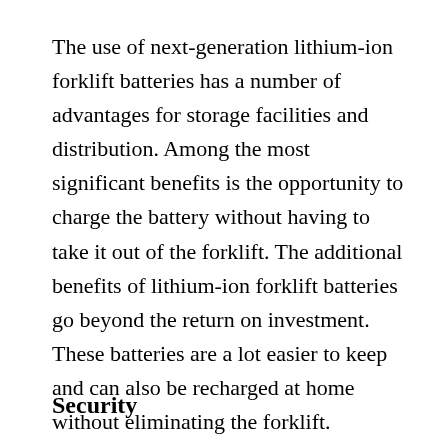The use of next-generation lithium-ion forklift batteries has a number of advantages for storage facilities and distribution. Among the most significant benefits is the opportunity to charge the battery without having to take it out of the forklift. The additional benefits of lithium-ion forklift batteries go beyond the return on investment. These batteries are a lot easier to keep and can also be recharged at home without eliminating the forklift.
Security